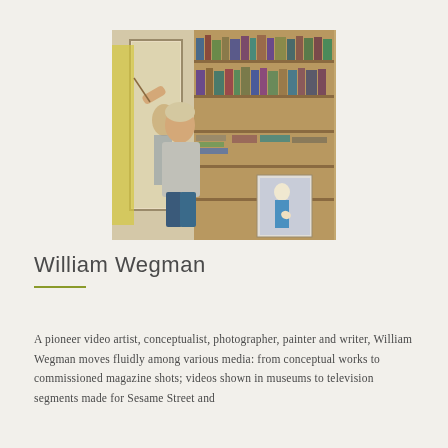[Figure (photo): William Wegman painting at an easel in his studio, with floor-to-ceiling bookshelves filled with books and materials behind him. He is reaching up with a brush toward a large canvas. Another painting is visible to the lower right.]
William Wegman
A pioneer video artist, conceptualist, photographer, painter and writer, William Wegman moves fluidly among various media: from conceptual works to commissioned magazine shots; videos shown in museums to television segments made for Sesame Street and